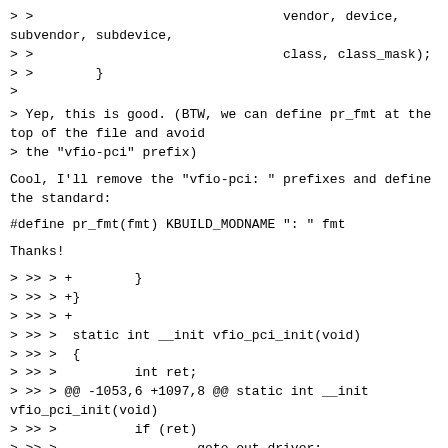>> vendor, device,
subvendor, subdevice,
>>                               class, class_mask);
>>        }
>
> Yep, this is good. (BTW, we can define pr_fmt at the top of the file and avoid
> the "vfio-pci" prefix)
Cool, I'll remove the "vfio-pci: " prefixes and define the standard:
#define pr_fmt(fmt) KBUILD_MODNAME ": " fmt
Thanks!
> >> > +        }
> >> > +}
> >> > +
> >> >  static int __init vfio_pci_init(void)
> >> >  {
> >> >          int ret;
> >> > @@ -1053,6 +1097,8 @@ static int __init vfio_pci_init(void)
> >> >          if (ret)
> >> >                  goto out_driver;
> >> >
> >> > +        vfio_pci_fill_ids();
> >> > +
> >> >          return 0;